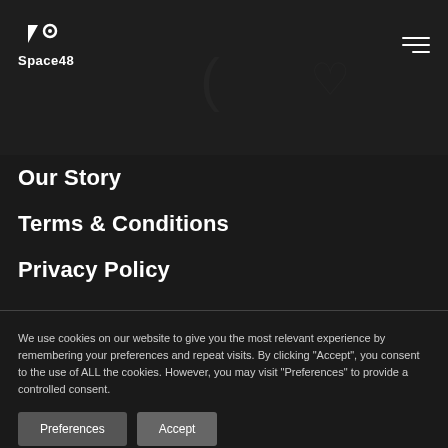Space48
Our Story
Terms & Conditions
Privacy Policy
We use cookies on our website to give you the most relevant experience by remembering your preferences and repeat visits. By clicking "Accept", you consent to the use of ALL the cookies. However, you may visit "Preferences" to provide a controlled consent.
Preferences  Accept